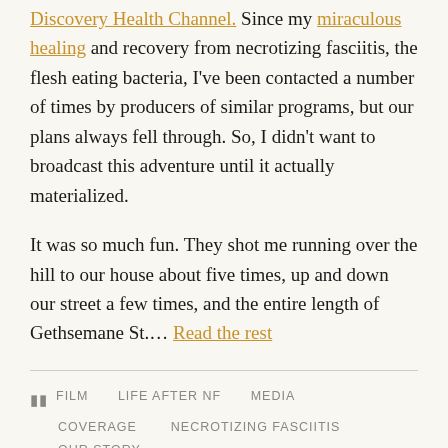Discovery Health Channel. Since my miraculous healing and recovery from necrotizing fasciitis, the flesh eating bacteria, I've been contacted a number of times by producers of similar programs, but our plans always fell through. So, I didn't want to broadcast this adventure until it actually materialized.
It was so much fun. They shot me running over the hill to our house about five times, up and down our street a few times, and the entire length of Gethsemane St…. Read the rest
FILM  LIFE AFTER NF  MEDIA COVERAGE  NECROTIZING FASCIITIS  OUR STORY
DISCOVERY CHANNEL  FLESH-EATING BACTERIA  NECROTIZING FASCIITIS  UC